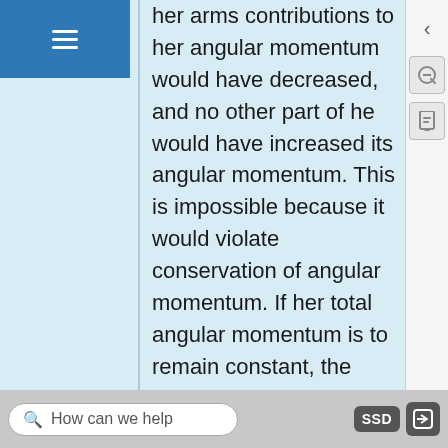her arms contributions to her angular momentum would have decreased, and no other part of her would have increased its angular momentum. This is impossible because it would violate conservation of angular momentum. If her total angular momentum is to remain constant, the decrease in r for her arms must be compensated for by an overall increase in her rate of rotation. That is, by pulling her arms in, she substantially reduces the time for each rotation.
How can we help